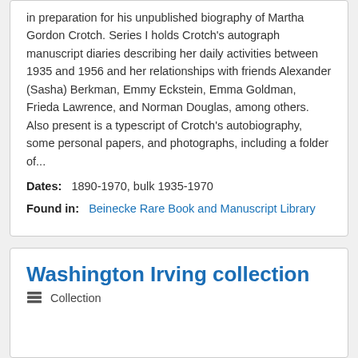in preparation for his unpublished biography of Martha Gordon Crotch. Series I holds Crotch's autograph manuscript diaries describing her daily activities between 1935 and 1956 and her relationships with friends Alexander (Sasha) Berkman, Emmy Eckstein, Emma Goldman, Frieda Lawrence, and Norman Douglas, among others. Also present is a typescript of Crotch's autobiography, some personal papers, and photographs, including a folder of...
Dates: 1890-1970, bulk 1935-1970
Found in: Beinecke Rare Book and Manuscript Library
Washington Irving collection
Collection